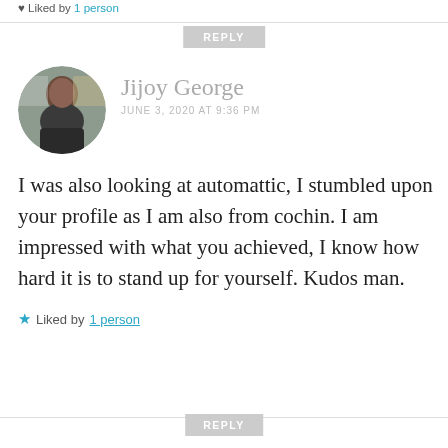Liked by 1 person
REPLY
Jijoy George
JUNE 3, 2020 AT 9:36 PM
[Figure (photo): Circular avatar photo of Jijoy George, a man in a black hoodie indoors]
I was also looking at automattic, I stumbled upon your profile as I am also from cochin. I am impressed with what you achieved, I know how hard it is to stand up for yourself. Kudos man.
Liked by 1 person
REPLY